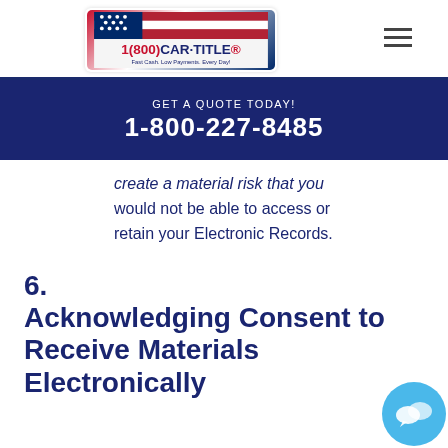1(800)CAR·TITLE® — Fast Cash. Low Payments. Every Day!
GET A QUOTE TODAY! 1-800-227-8485
create a material risk that you would not be able to access or retain your Electronic Records.
6. Acknowledging Consent to Receive Materials Electronically
a. To confirm to us that you can access this information electronically, which